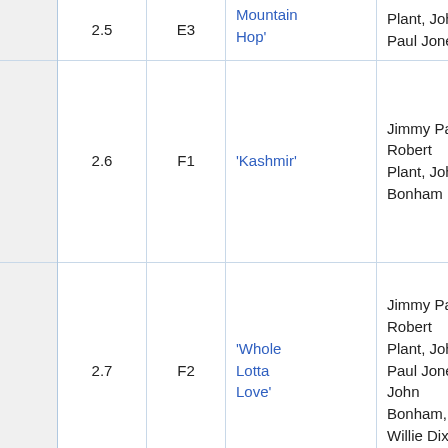|  |  |  | Title | Authors |  |
| --- | --- | --- | --- | --- | --- |
|  | 2.5 | E3 | 'Mountain Hop' | Plant, John Paul Jones | 4: |
|  | 2.6 | F1 | 'Kashmir' | Jimmy Page, Robert Plant, John Bonham | 8: |
|  | 2.7 | F2 | 'Whole Lotta Love' | Jimmy Page, Robert Plant, John Paul Jones, John Bonham, Willie Dixon | 6: |
|  | 2.8 | F3 | 'Rock and Roll' | Jimmy Page, Robert Plant, John Paul Jones, John Bonham | 4: |